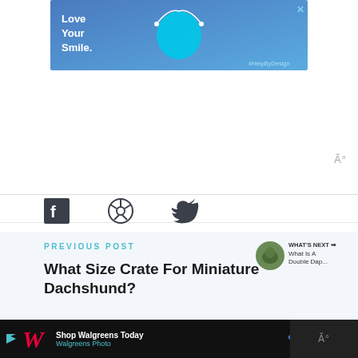[Figure (screenshot): Blue advertisement banner with 'Love Your Smile.' text, cyan blob graphic, and #HelpByDesign tagline]
[Figure (screenshot): Social sharing icons: Facebook, Pinterest, Twitter]
[Figure (screenshot): Heart/like button (blue circle with heart icon) showing count of 1, and share button below]
PREVIOUS POST
What Size Crate For Miniature Dachshund?
[Figure (screenshot): What's Next sidebar with thumbnail image and text 'What Is A Double Dap...']
[Figure (screenshot): Bottom black advertisement bar: Shop Walgreens Today - Walgreens Photo]